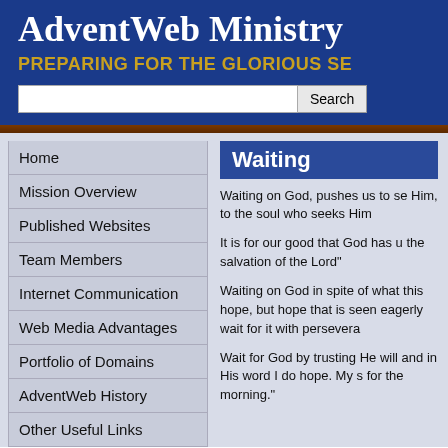AdventWeb Ministry
PREPARING FOR THE GLORIOUS SE
[Figure (screenshot): Search input box with Search button]
Home
Mission Overview
Published Websites
Team Members
Internet Communication
Web Media Advantages
Portfolio of Domains
AdventWeb History
Other Useful Links
Waiting
Waiting on God, pushes us to se Him, to the soul who seeks Him
It is for our good that God has u the salvation of the Lord"
Waiting on God in spite of what this hope, but hope that is seen eagerly wait for it with persevera
Wait for God by trusting He will and in His word I do hope. My s for the morning."